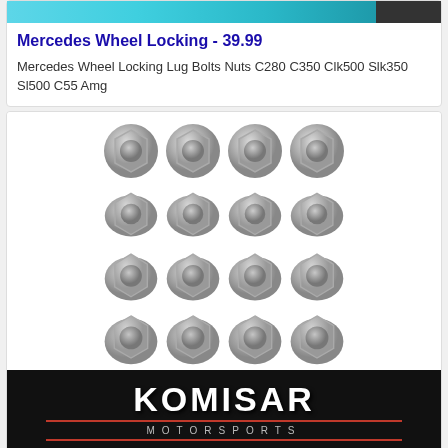[Figure (photo): Partial product photo at top showing teal/cyan colored wheel locking bolts/nuts]
Mercedes Wheel Locking - 39.99
Mercedes Wheel Locking Lug Bolts Nuts C280 C350 Clk500 Slk350 Sl500 C55 Amg
[Figure (photo): Grid of 16 chrome/silver flanged hex nuts arranged in 4 rows of 4, with Komisar Motorsports logo below]
[Figure (logo): Komisar Motorsports logo on black background with red accent lines]